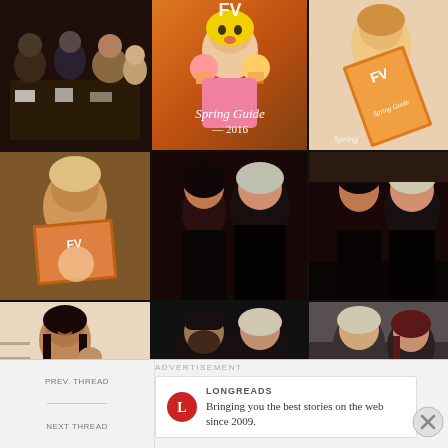[Figure (photo): A 3x3 grid collage of photographs. Top row: group of people seated at a restaurant table; center colorful magazine cover 'Spring Guide 2016' featuring a woman with cupcakes; right person holding a magazine. Middle row: person reading a magazine; couple posing together indoors; two people posing in a dark setting. Bottom row: woman smiling in white jacket; two men posing together; man in suit with woman.]
ADVERTISEMENT
[Figure (logo): Longreads circular logo in red]
LONGREADS
Bringing you the best stories on the web since 2009.